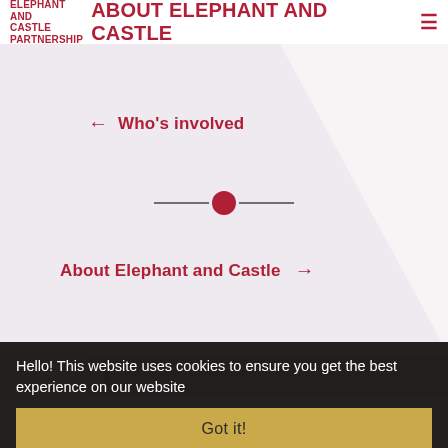ELEPHANT AND CASTLE PARTNERSHIP
ABOUT ELEPHANT AND CASTLE
← Who's involved
[Figure (infographic): A horizontal slider with a dark red filled circle dot centered on a horizontal line, indicating current page position in a slideshow carousel]
About Elephant and Castle →
[Figure (photo): Partial photo strip showing a grey urban scene with a red vertical element visible]
Hello! This website uses cookies to ensure you get the best experience on our website
Got it!